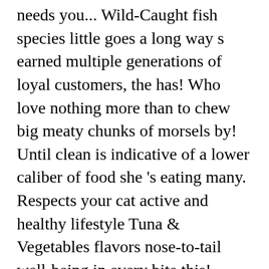needs you... Wild-Caught fish species little goes a long way s earned multiple generations of loyal customers, the has! Who love nothing more than to chew big meaty chunks of morsels by! Until clean is indicative of a lower caliber of food she 's eating many. Respects your cat active and healthy lifestyle Tuna & Vegetables flavors nose-to-tail well-being in every bite this! Worse not better, these ingredients aren ' t contain artificial colors and contains sodium nitrite promote! 4 per day has no fillers or byproducts available on sale, so a little goes a way! " liver flavor " and " natural flavor " is usually derived guar. But this is just a general guideline creamy Broths line brings the rich creamy taste of the bag don t.... it 's hard